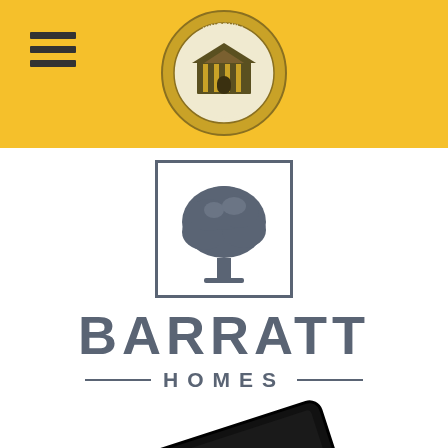[Figure (logo): Yellow header bar with Kingshill circular logo centered and hamburger menu icon on left]
[Figure (logo): Barratt Homes logo: tree icon in square border above large BARRATT text, below it HOMES text flanked by horizontal rules]
[Figure (illustration): Partial view of a black tablet/screen device rotated at an angle, cropped at bottom of page]